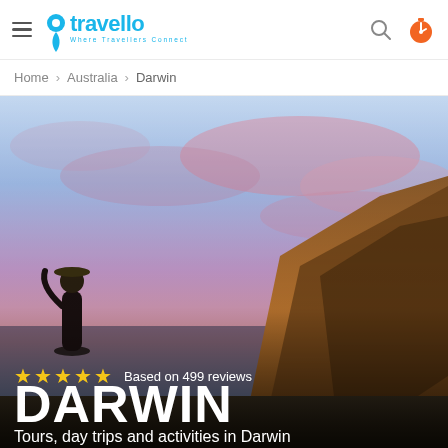travello — Where Travellers Connect
Home > Australia > Darwin
[Figure (photo): Hero image of a traveler standing on a cliff at sunset in Darwin, Australia. Dramatic pink and blue sky with rocky formation on the right.]
★★★★★ Based on 499 reviews
DARWIN
Tours, day trips and activities in Darwin